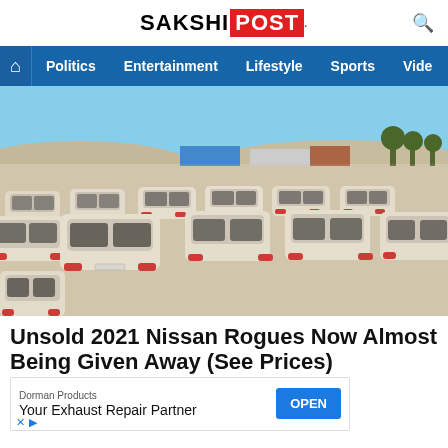SAKSHI POST
Politics  Entertainment  Lifestyle  Sports  Vide
[Figure (photo): Large outdoor lot with hundreds of white cars parked in rows on a dusty sandy surface, arid landscape with hills in background, aerial/elevated view]
Unsold 2021 Nissan Rogues Now Almost Being Given Away (See Prices)
Dorman Products
Your Exhaust Repair Partner
OPEN